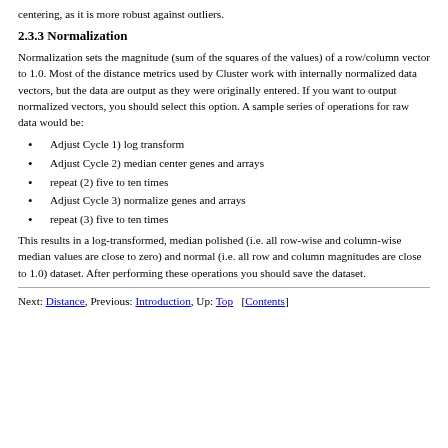centering, as it is more robust against outliers.
2.3.3 Normalization
Normalization sets the magnitude (sum of the squares of the values) of a row/column vector to 1.0. Most of the distance metrics used by Cluster work with internally normalized data vectors, but the data are output as they were originally entered. If you want to output normalized vectors, you should select this option. A sample series of operations for raw data would be:
Adjust Cycle 1) log transform
Adjust Cycle 2) median center genes and arrays
repeat (2) five to ten times
Adjust Cycle 3) normalize genes and arrays
repeat (3) five to ten times
This results in a log-transformed, median polished (i.e. all row-wise and column-wise median values are close to zero) and normal (i.e. all row and column magnitudes are close to 1.0) dataset. After performing these operations you should save the dataset.
Next: Distance, Previous: Introduction, Up: Top  [Contents]